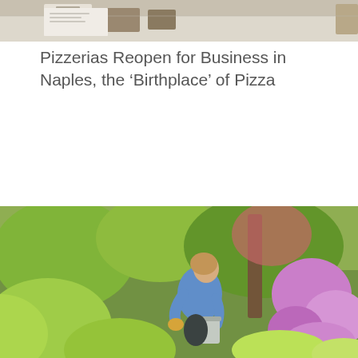[Figure (photo): Partial view of a pizza-related scene showing packages and food items on a surface]
Pizzerias Reopen for Business in Naples, the ‘Birthplace’ of Pizza
[Figure (photo): A woman in a blue hoodie and yellow gloves kneeling in a lush garden surrounded by green and purple flowering plants, tending to a metal bucket]